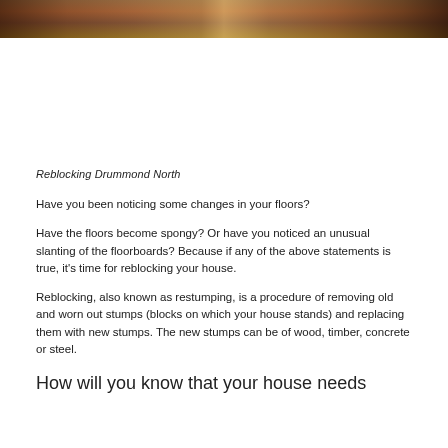[Figure (photo): Partial photo strip showing timber/wood ceiling or floor structure in warm brown tones]
Reblocking Drummond North
Have you been noticing some changes in your floors?
Have the floors become spongy? Or have you noticed an unusual slanting of the floorboards? Because if any of the above statements is true, it's time for reblocking your house.
Reblocking, also known as restumping, is a procedure of removing old and worn out stumps (blocks on which your house stands) and replacing them with new stumps. The new stumps can be of wood, timber, concrete or steel.
How will you know that your house needs